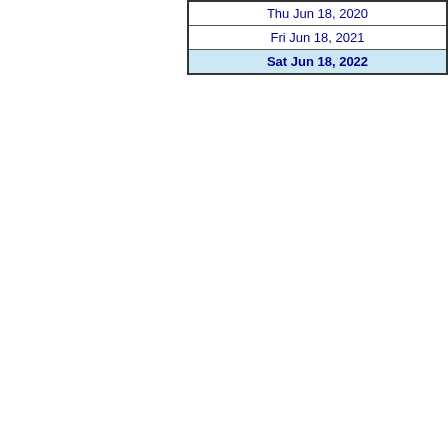| Thu Jun 18, 2020 |
| Fri Jun 18, 2021 |
| Sat Jun 18, 2022 |